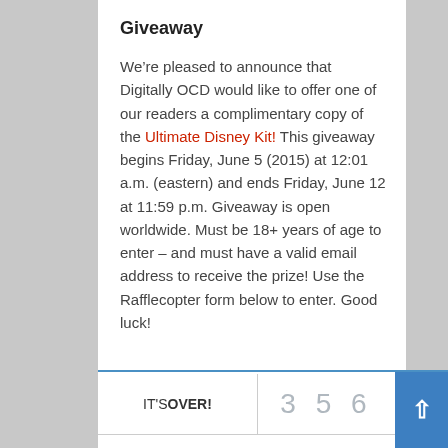Giveaway
We’re pleased to announce that Digitally OCD would like to offer one of our readers a complimentary copy of the Ultimate Disney Kit! This giveaway begins Friday, June 5 (2015) at 12:01 a.m. (eastern) and ends Friday, June 12 at 11:59 p.m. Giveaway is open worldwide. Must be 18+ years of age to enter – and must have a valid email address to receive the prize! Use the Rafflecopter form below to enter. Good luck!
[Figure (screenshot): Rafflecopter giveaway widget showing IT'S OVER! text, 356 entries, 0/ fraction, and a blue scroll-to-top button with arrow. Bottom shows partial text 'Ultimate Disney']